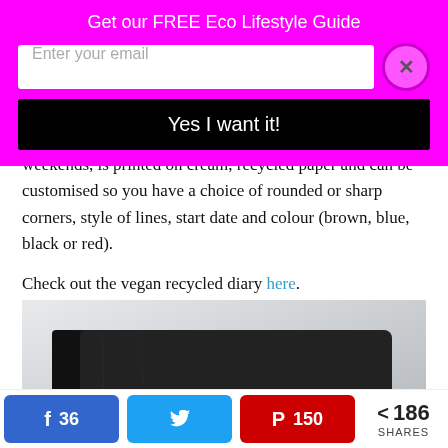Get our FREE Eco Lifestyle Guide
weekends, is printed on cream, recycled paper and can be customised so you have a choice of rounded or sharp corners, style of lines, start date and colour (brown, blue, black or red).
Check out the vegan recycled diary here.
[Figure (photo): A black leather-bound diary/notebook with cream-colored pages, photographed on a light gray background]
36  [Facebook share button]  [Twitter share button]  150  [Pinterest share button]  < 186 SHARES